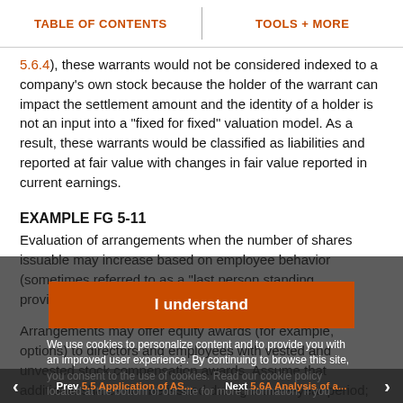TABLE OF CONTENTS | TOOLS + MORE
5.6.4), these warrants would not be considered indexed to a company's own stock because the holder of the warrant can impact the settlement amount and the identity of a holder is not an input into a "fixed for fixed" valuation model. As a result, these warrants would be classified as liabilities and reported at fair value with changes in fair value reported in current earnings.
EXAMPLE FG 5-11
Evaluation of arrangements when the number of shares issuable may increase based on employee behavior (sometimes referred to as a "last person standing provision").
Arrangements may offer equity awards (for example, options) to directors and employees with vested and unvested stock compensation awards. Assume that additional shares will be issued during a three-year period; certain thresholds are met, as follows:
Prev 5.5 Application of AS...  Next 5.6A Analysis of a...